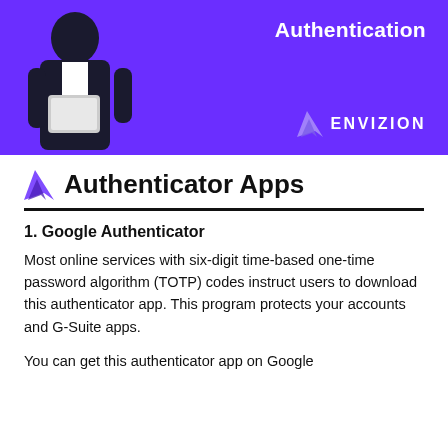[Figure (photo): Banner image with purple background showing a man in a suit holding a tablet, with the text 'Authentication' and the Envizion logo in white]
Authenticator Apps
1. Google Authenticator
Most online services with six-digit time-based one-time password algorithm (TOTP) codes instruct users to download this authenticator app. This program protects your accounts and G-Suite apps.
You can get this authenticator app on Google